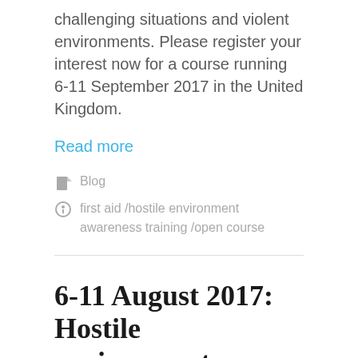challenging situations and violent environments. Please register your interest now for a course running 6-11 September 2017 in the United Kingdom.
Read more
Blog
first aid /hostile environment awareness training /open course
6-11 August 2017: Hostile environment awareness